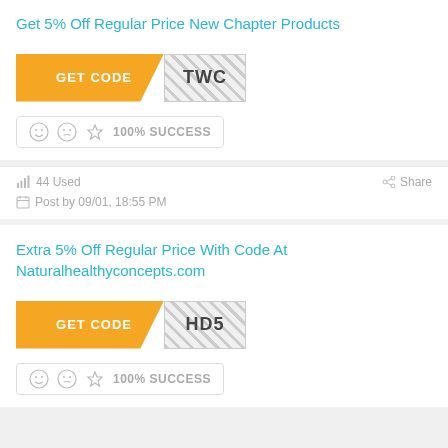Get 5% Off Regular Price New Chapter Products
[Figure (other): GET CODE button in orange with coupon code TWC on hatched background]
100% SUCCESS
44 Used   Share   Post by 09/01, 18:55 PM
Extra 5% Off Regular Price With Code At Naturalhealthyconcepts.com
[Figure (other): GET CODE button in orange with coupon code HD5 on hatched background]
100% SUCCESS (partial)